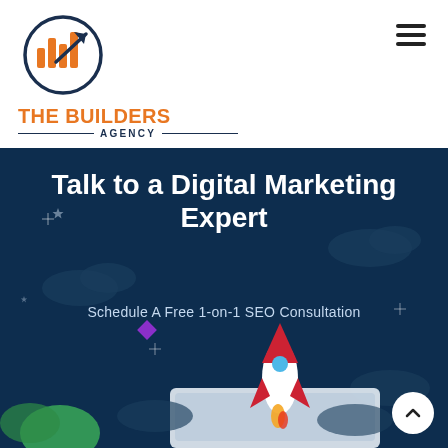[Figure (logo): The Builders Agency logo: circular icon with bar chart and upward arrow, orange and dark navy color scheme, with company name below]
Talk to a Digital Marketing Expert
Schedule A Free 1-on-1 SEO Consultation
[Figure (illustration): Dark blue hero section with a rocket launching from a laptop/tablet screen, decorative clouds, sparkle stars, and green plant elements]